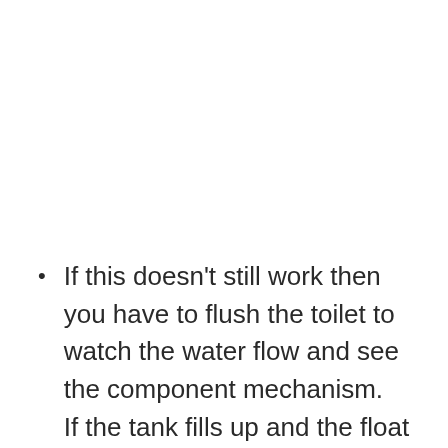If this doesn't still work then you have to flush the toilet to watch the water flow and see the component mechanism.  If the tank fills up and the float becomes waterlogged, the problem hasn't been corrected. Turn off the water valve and